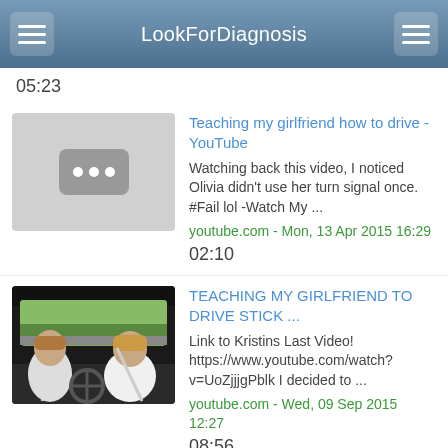LookForDiagnosis
05:23
[Figure (screenshot): Video thumbnail placeholder with three white dots on grey background]
Teaching my girlfriend how to drive - YouTube
Watching back this video, I noticed Olivia didn't use her turn signal once. #Fail lol -Watch My ...
youtube.com - Mon, 13 Apr 2015 16:29
02:10
[Figure (photo): Two people in a car, a man and woman, woman is driving, both wearing seatbelts]
TEACHING MY GIRLFRIEND TO DRIVE STICK ...
Link to Kristins Last Video! https://www.youtube.com/watch?v=UoZjjjgPblk I decided to ...
youtube.com - Wed, 09 Sep 2015 12:27
08:56